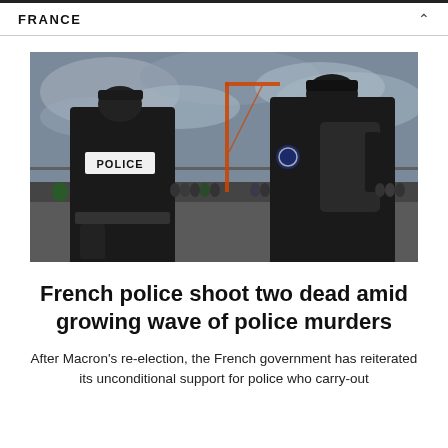FRANCE
[Figure (photo): Two French police officers seen from behind, wearing black uniforms and gear, with 'POLICE' written on the back of one jacket. They face a crowd behind barriers, with construction cranes and an overcast sky in the background.]
French police shoot two dead amid growing wave of police murders
After Macron's re-election, the French government has reiterated its unconditional support for police who carry-out